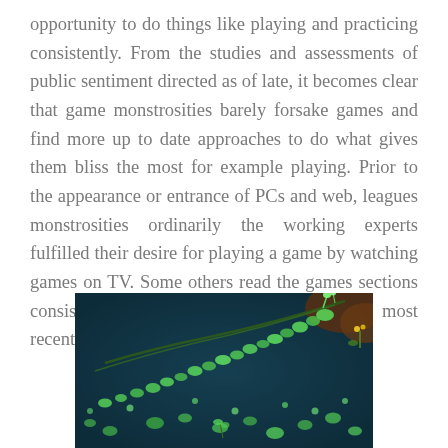opportunity to do things like playing and practicing consistently. From the studies and assessments of public sentiment directed as of late, it becomes clear that game monstrosities barely forsake games and find more up to date approaches to do what gives them bliss the most for example playing. Prior to the appearance or entrance of PCs and web, leagues monstrosities ordinarily the working experts fulfilled their desire for playing a game by watching games on TV. Some others read the games sections consistently to remain refreshed with the most recent happenings in the realm of leagues.
[Figure (photo): A dark teal pond with glowing green lily pads and aquatic plants floating on the water surface, resembling a fantasy or nature scene.]